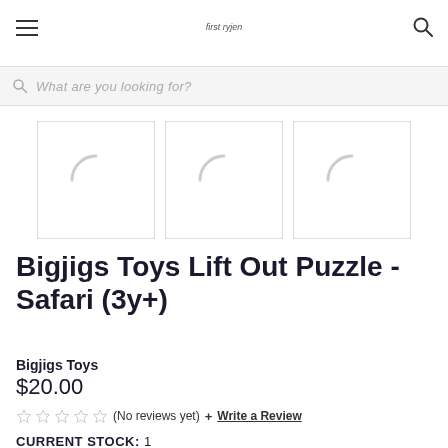First ryjen
What are you looking for?
[Figure (photo): Three product image thumbnails with loading spinners (crescent shapes), displayed in a row]
Bigjigs Toys Lift Out Puzzle - Safari (3y+)
Bigjigs Toys
$20.00
☆☆☆☆☆ (No reviews yet) + Write a Review
CURRENT STOCK:  1